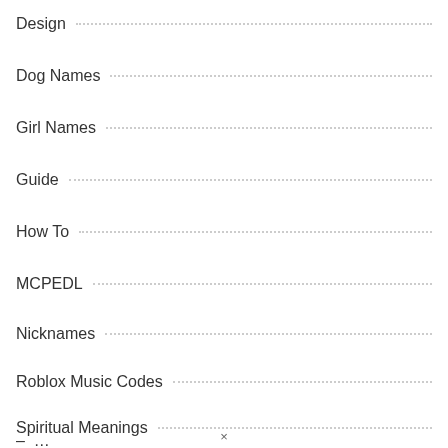Design
Dog Names
Girl Names
Guide
How To
MCPEDL
Nicknames
Roblox Music Codes
Spiritual Meanings
– …
×